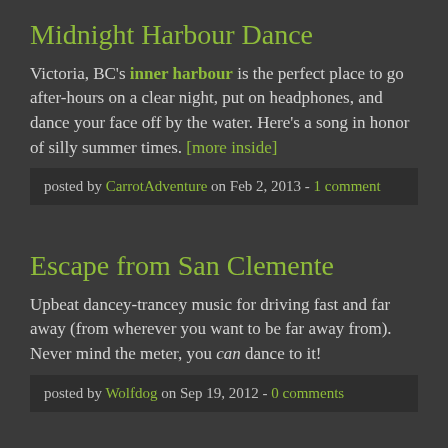Midnight Harbour Dance
Victoria, BC's inner harbour is the perfect place to go after-hours on a clear night, put on headphones, and dance your face off by the water. Here's a song in honor of silly summer times. [more inside]
posted by CarrotAdventure on Feb 2, 2013 - 1 comment
Escape from San Clemente
Upbeat dancey-trancey music for driving fast and far away (from wherever you want to be far away from). Never mind the meter, you can dance to it!
posted by Wolfdog on Sep 19, 2012 - 0 comments